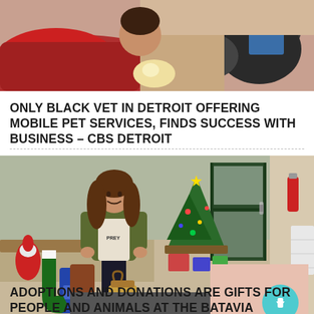[Figure (photo): Photo of a person with a dark-colored dog, veterinary/pet related scene with red clothing visible]
ONLY BLACK VET IN DETROIT OFFERING MOBILE PET SERVICES, FINDS SUCCESS WITH BUSINESS – CBS DETROIT
[Figure (photo): Woman in green sweater holding a bag of pet food (PREY brand), standing in a lobby decorated for Christmas with a Christmas tree, holiday decorations, and bags of pet food donations]
ADOPTIONS AND DONATIONS ARE GIFTS FOR PEOPLE AND ANIMALS AT THE BATAVIA REFUGE